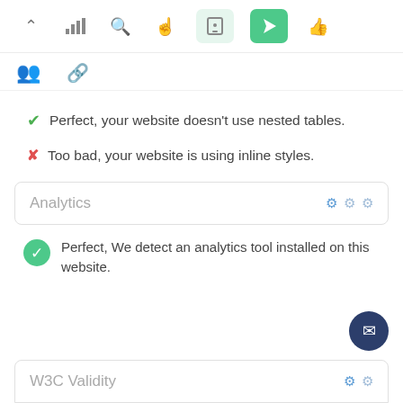[Figure (screenshot): Top toolbar with icons: up-arrow, bar-chart, search/magnifier, hand/pointer, mobile phone (light green background), navigation arrow (green background), thumbs-up]
[Figure (screenshot): Second icon row: group/people icon, chain/link icon]
Perfect, your website doesn't use nested tables.
Too bad, your website is using inline styles.
Analytics
Perfect, We detect an analytics tool installed on this website.
W3C Validity